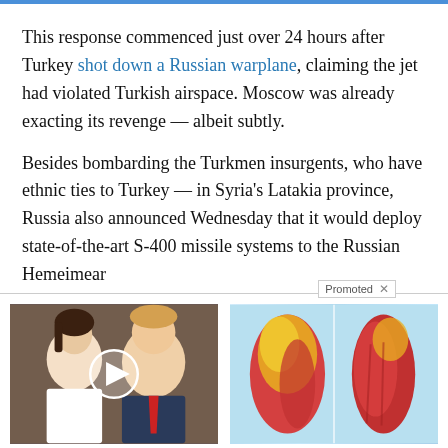This response commenced just over 24 hours after Turkey shot down a Russian warplane, claiming the jet had violated Turkish airspace. Moscow was already exacting its revenge — albeit subtly.
Besides bombarding the Turkmen insurgents, who have ethnic ties to Turkey — in Syria's Latakia province, Russia also announced Wednesday that it would deploy state-of-the-art S-400 missile systems to the Russian Hemeime ar
[Figure (photo): Promoted ad thumbnail showing Trump and Melania with a video play button overlay]
Trump Wants This Video Shared A Million Times — Watch Now Before It's Banned!
🔥 24,466
[Figure (photo): Promoted ad thumbnail showing a medical/anatomical illustration of legs for weight loss ad]
How To Lose 40.5 Lbs In A Month (Eat This Once Every Day)
🔥 40,931